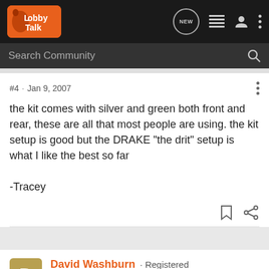LobbyTalk · NEW · Search Community
#4 · Jan 9, 2007
the kit comes with silver and green both front and rear, these are all that most people are using. the kit setup is good but the DRAKE "the drit" setup is what I like the best so far

-Tracey
David Washburn · Registered
Joined Aug 26, 2004 · 1,454 Posts